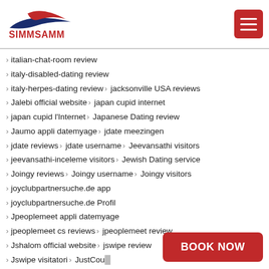[Figure (logo): SIMMSAMM logo with red and blue swoosh graphic above bold red text SIMMSAMM]
italian-chat-room review
italy-disabled-dating review
italy-herpes-dating review > jacksonville USA reviews
Jalebi official website > japan cupid internet
japan cupid l'Internet > Japanese Dating review
Jaumo appli datemyage > jdate meezingen
jdate reviews > jdate username > Jeevansathi visitors
jeevansathi-inceleme visitors > Jewish Dating service
Joingy reviews > Joingy username > Joingy visitors
joyclubpartnersuche.de app
joyclubpartnersuche.de Profil
Jpeoplemeet appli datemyage
jpeoplemeet cs reviews > jpeoplemeet review
Jshalom official website > jswipe review
Jswipe visitatori > JustCoug... [partial]
kansas city USA reviews > ... review
[Figure (other): BOOK NOW red button overlay]